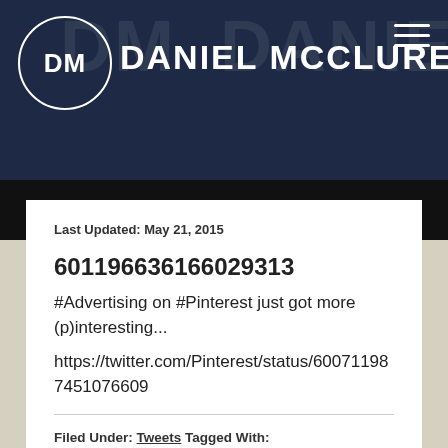DM DANIEL MCCLURE
Last Updated: May 21, 2015
601196636166029313
#Advertising on #Pinterest just got more (p)interesting...
https://twitter.com/Pinterest/status/600711987451076609
Filed Under: Tweets Tagged With: #Advertising, #Pinterest